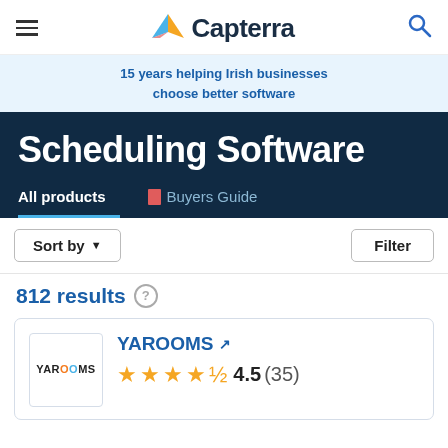Capterra
15 years helping Irish businesses choose better software
Scheduling Software
All products   Buyers Guide
Sort by  Filter
812 results
YAROOMS  4.5 (35)